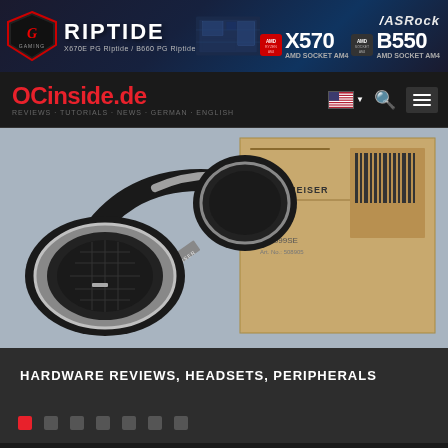[Figure (screenshot): ASRock Riptide X570 / B550 banner advertisement with logo, motherboard photo, and chipset branding]
[Figure (screenshot): OCinside.de website navigation bar with red logo, flag selector, search icon, and hamburger menu]
[Figure (photo): Sennheiser HD headphones in black and silver placed in front of a cardboard product box, on a gray background]
HARDWARE REVIEWS, HEADSETS, PERIPHERALS